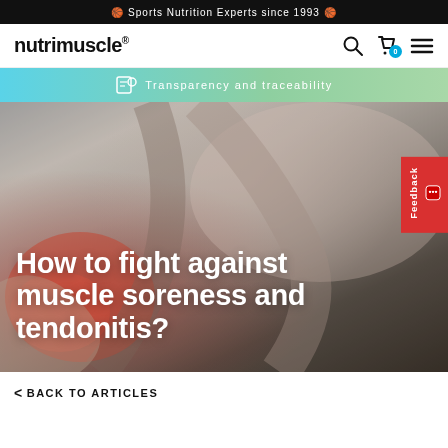🏅 Sports Nutrition Experts since 1993 🏅
[Figure (logo): nutrimuscle® logo in bold black text]
Transparency and traceability
[Figure (photo): Black and white close-up photo of a person holding their elbow/arm area with redness indicating muscle soreness or tendonitis]
How to fight against muscle soreness and tendonitis?
< BACK TO ARTICLES